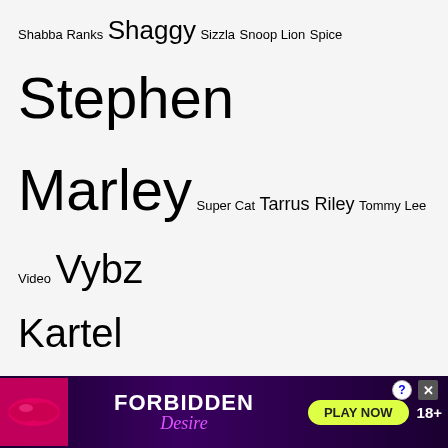Shabba Ranks Shaggy Sizzla Snoop Lion Spice Stephen Marley Super Cat Tarrus Riley Tommy Lee Video Vybz Kartel
Recent Posts
WATCH THIS: Baby Cham x Bounty Killer "BLOOD CLXXT" Official Music Video PREMIERE
Tanya Stephens & Patra Reason About Their New Collaboration "50"
WATCH THIS: Busy Signal "Watch Gyal" Official Music Video PREMIERE
Damian Marley, Shabba Ranks, and Burning S...
[Figure (other): Advertisement banner for Forbidden Desire with lips imagery, play now button, and 18+ rating]